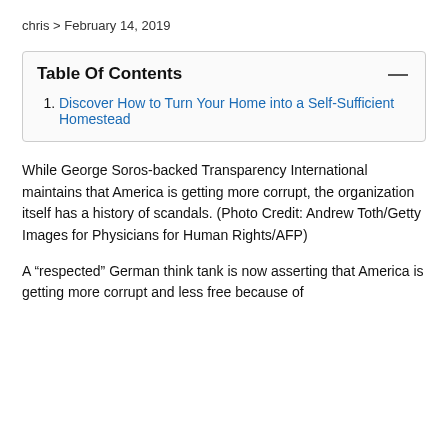chris > February 14, 2019
Discover How to Turn Your Home into a Self-Sufficient Homestead
While George Soros-backed Transparency International maintains that America is getting more corrupt, the organization itself has a history of scandals. (Photo Credit: Andrew Toth/Getty Images for Physicians for Human Rights/AFP)
A “respected” German think tank is now asserting that America is getting more corrupt and less free because of